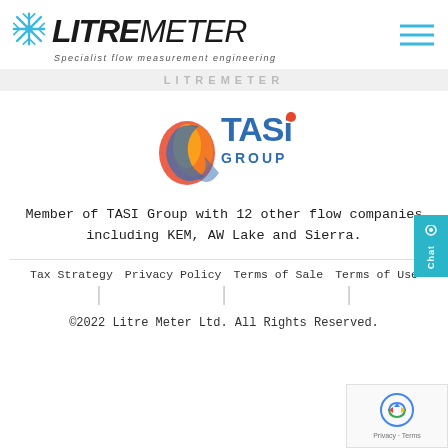LITREMETER — Specialist flow measurement engineering
LITREMETER
[Figure (logo): TASI Group logo with flame/swirl icon in red/orange/blue and TASI GROUP text in blue]
Member of TASI Group with 12 other flow companies including KEM, AW Lake and Sierra.
Tax Strategy   Privacy Policy   Terms of Sale   Terms of Use
©2022 Litre Meter Ltd. All Rights Reserved.